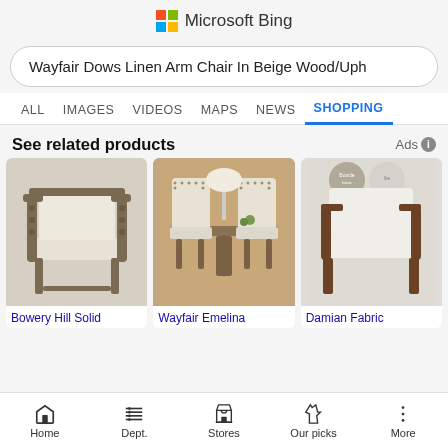Microsoft Bing
Wayfair Dows Linen Arm Chair In Beige Wood/Uph
ALL  IMAGES  VIDEOS  MAPS  NEWS  SHOPPING
See related products
Ads
[Figure (photo): Bowery Hill Solid arm chair with spindle wood frame and beige linen cushions]
Bowery Hill Solid
[Figure (photo): Wayfair Emelina dining chairs with nailhead trim and wood legs around a dining table]
Wayfair Emelina
[Figure (photo): Damian Fabric accent chair with wood frame and white boucle upholstery]
Damian Fabric
Home  Dept.  Stores  Our picks  More